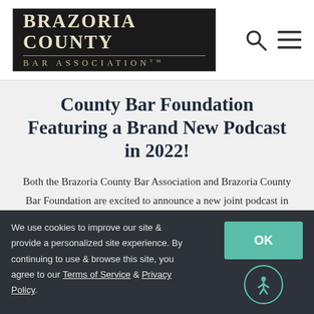[Figure (logo): Brazoria County Bar Association logo — dark background with gold/cream text]
County Bar Foundation Featuring a Brand New Podcast in 2022!
Both the Brazoria County Bar Association and Brazoria County Bar Foundation are excited to announce a new joint podcast in 2022!  This Podcast provides an exciting and
We use cookies to improve our site & provide a personalized site experience. By continuing to use & browse this site, you agree to our Terms of Service & Privacy Policy.